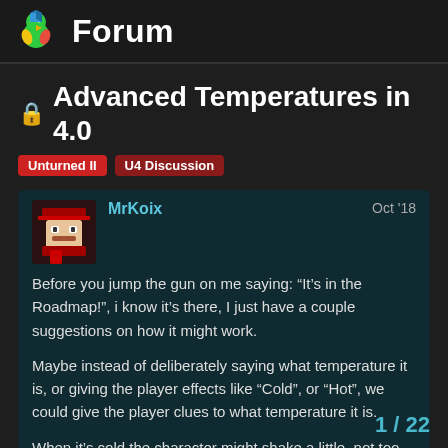Forum
Advanced Temperatures in 4.0
Unturned II  U4 Discussion
MrKoix  Oct '18
Before you jump the gun on me saying: “It's in the Roadmap!”, i know it's there, I just have a couple suggestions on how it might work.
Maybe instead of deliberately saying what temperature it is, or giving the player effects like “Cold”, or “Hot”, we could give the player clues to what temperature it is.
When it's cold the character might shake a little, not too aggressive just a slight shake, and the colder it gets. the more he shakes. And when it's hot, maybe we c… wave in the distance, and the hotter it is, th…
1 / 22